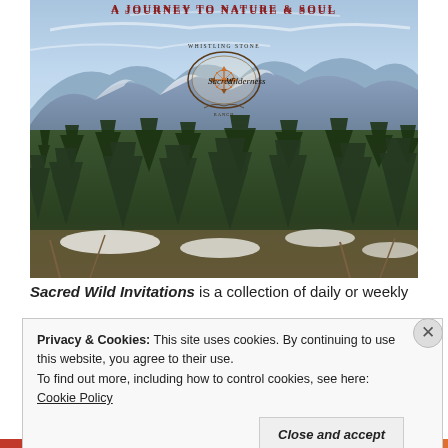A Journey to Nature & Soul
[Figure (photo): Book cover photo of a mountain landscape with pine forest, snow patches, blue mountains and cloudy sky. Features the Sacred Wilderness logo with compass rose and script text 'Sacred Wilderness' with 'Whistling Stone' around the top of the emblem.]
Sacred Wild Invitations is a collection of daily or weekly
Privacy & Cookies: This site uses cookies. By continuing to use this website, you agree to their use.
To find out more, including how to control cookies, see here: Cookie Policy
Close and accept